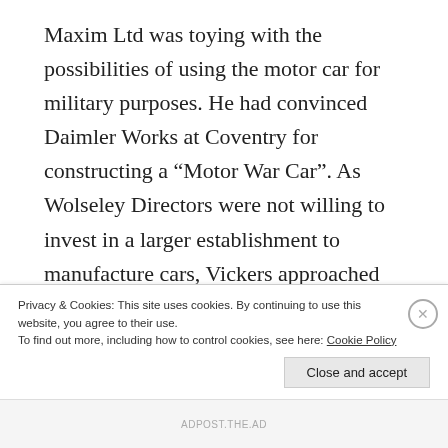Maxim Ltd was toying with the possibilities of using the motor car for military purposes. He had convinced Daimler Works at Coventry for constructing a “Motor War Car”. As Wolseley Directors were not willing to invest in a larger establishment to manufacture cars, Vickers approached the Wolseley company to take over the motorcar part of their business. Thereafter, in 1901, Vickers established the Wolseley Tool and Motor Car Co Ltd, which was further renamed as the Wolseley Motor Company before the outbreak of World War I. By 1913 Wolseley was the largest British automobile manufacturer and built around 3000 cars
Privacy & Cookies: This site uses cookies. By continuing to use this website, you agree to their use.
To find out more, including how to control cookies, see here: Cookie Policy
Close and accept
ADPOST.THE.AD